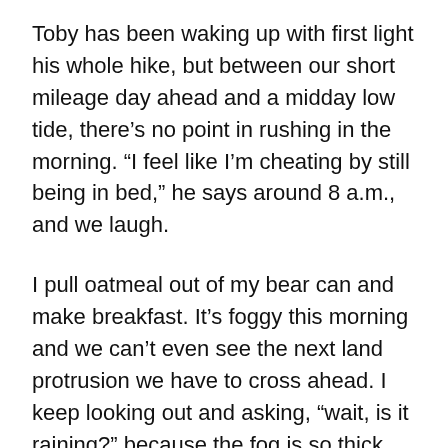Toby has been waking up with first light his whole hike, but between our short mileage day ahead and a midday low tide, there’s no point in rushing in the morning. “I feel like I’m cheating by still being in bed,” he says around 8 a.m., and we laugh.
I pull oatmeal out of my bear can and make breakfast. It’s foggy this morning and we can’t even see the next land protrusion we have to cross ahead. I keep looking out and asking, “wait, is it raining?” because the fog is so thick you can see individual particles, like rain, but it’s not exactly falling. The outside of my tent is soaked. It’s not especially fun packing up a wet tent, but we know the forecast told us to expect better